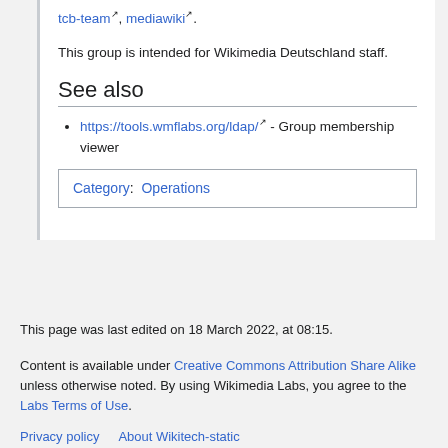tcb-team, mediawiki.
This group is intended for Wikimedia Deutschland staff.
See also
https://tools.wmflabs.org/ldap/ - Group membership viewer
Category:  Operations
This page was last edited on 18 March 2022, at 08:15.
Content is available under Creative Commons Attribution Share Alike unless otherwise noted. By using Wikimedia Labs, you agree to the Labs Terms of Use.
Privacy policy   About Wikitech-static   Disclaimers